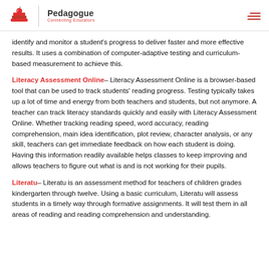Pedagogue — Connecting Educators
identify and monitor a student's progress to deliver faster and more effective results. It uses a combination of computer-adaptive testing and curriculum-based measurement to achieve this.
Literacy Assessment Online– Literacy Assessment Online is a browser-based tool that can be used to track students' reading progress. Testing typically takes up a lot of time and energy from both teachers and students, but not anymore. A teacher can track literacy standards quickly and easily with Literacy Assessment Online. Whether tracking reading speed, word accuracy, reading comprehension, main idea identification, plot review, character analysis, or any skill, teachers can get immediate feedback on how each student is doing. Having this information readily available helps classes to keep improving and allows teachers to figure out what is and is not working for their pupils.
Literatu– Literatu is an assessment method for teachers of children grades kindergarten through twelve. Using a basic curriculum, Literatu will assess students in a timely way through formative assignments. It will test them in all areas of reading and reading comprehension and understanding.